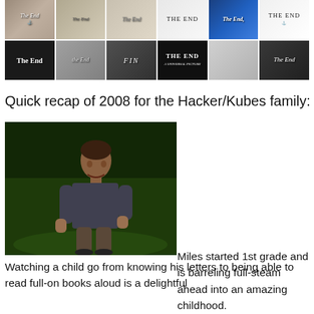[Figure (photo): Collage of 12 movie 'The End' title cards in two rows of six, various styles including vintage black and white, color, script fonts, and bold text. Titles include 'The End', 'Fin', and variations.]
Quick recap of 2008 for the Hacker/Kubes family:
[Figure (photo): Photograph of a young boy (Miles) running or standing on a green lawn outdoors. He is wearing a dark t-shirt. The background shows trees and grass.]
Miles started 1st grade and is barreling full-steam ahead into an amazing childhood. Watching a child go from knowing his letters to being able to read full-on books aloud is a delightful